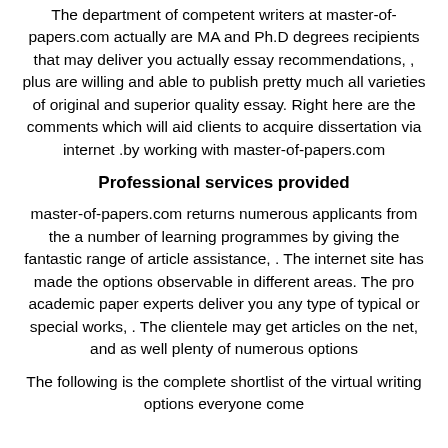The department of competent writers at master-of-papers.com actually are MA and Ph.D degrees recipients that may deliver you actually essay recommendations, , plus are willing and able to publish pretty much all varieties of original and superior quality essay. Right here are the comments which will aid clients to acquire dissertation via internet .by working with master-of-papers.com
Professional services provided
master-of-papers.com returns numerous applicants from the a number of learning programmes by giving the fantastic range of article assistance, . The internet site has made the options observable in different areas. The pro academic paper experts deliver you any type of typical or special works, . The clientele may get articles on the net, and as well plenty of numerous options
The following is the complete shortlist of the virtual writing options everyone come